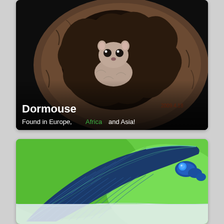[Figure (photo): A dormouse peering out from inside a hollow log or tree cavity. The animal has large dark eyes and greyish fur. The surrounding wood texture is rough and bark-like. Black background. Text overlay at bottom reads 'Dormouse' in bold white and 'Found in Europe, Africa and Asia!' with Africa in green.]
[Figure (photo): Close-up macro photograph of a dragonfly or damselfly wing against a vivid green background. The wing shows intricate blue and teal venation patterns. The body of the insect is visible on the right side, appearing blue. The lower portion shows a pale/white section of the wing.]